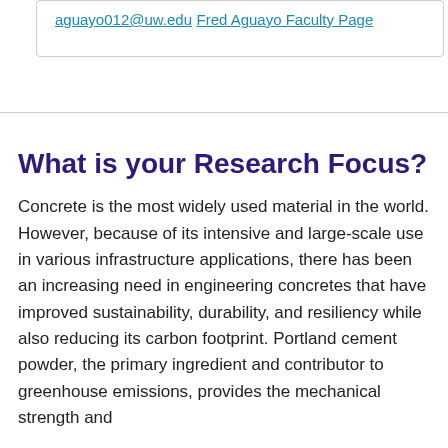aguayo012@uw.edu
Fred Aguayo Faculty Page
What is your Research Focus?
Concrete is the most widely used material in the world. However, because of its intensive and large-scale use in various infrastructure applications, there has been an increasing need in engineering concretes that have improved sustainability, durability, and resiliency while also reducing its carbon footprint. Portland cement powder, the primary ingredient and contributor to greenhouse emissions, provides the mechanical strength and